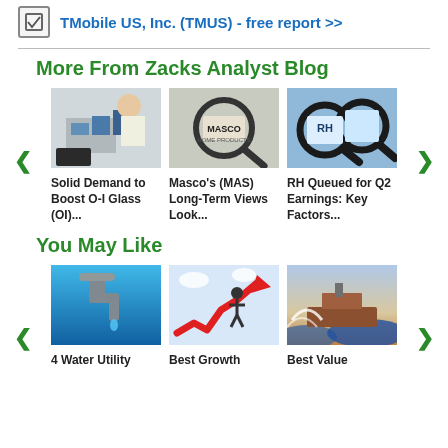TMobile US, Inc. (TMUS) - free report >>
More From Zacks Analyst Blog
[Figure (photo): Analyst reviewing charts at desk with coffee]
[Figure (photo): Masco logo through magnifying glass]
[Figure (photo): RH website through magnifying glasses]
Solid Demand to Boost O-I Glass (OI)...
Masco's (MAS) Long-Term Views Look...
RH Queued for Q2 Earnings: Key Factors...
You May Like
[Figure (photo): Water faucet dripping on blue background]
[Figure (photo): Cartoon businessman riding red arrow upward]
[Figure (photo): Ship in rough ocean waves]
4 Water Utility
Best Growth
Best Value